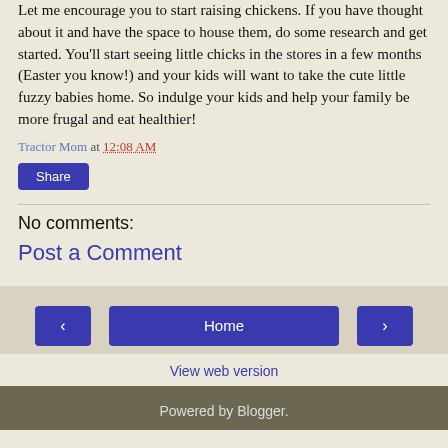Let me encourage you to start raising chickens.  If you have thought about it and have the space to house them, do some research and get started.  You'll start seeing little chicks in the stores in a few months (Easter you know!) and your kids will want to take the cute little fuzzy babies home.  So indulge your kids and help your family be more frugal and eat healthier!
Tractor Mom at 12:08 AM
Share
No comments:
Post a Comment
Home | < | > | View web version | Powered by Blogger.